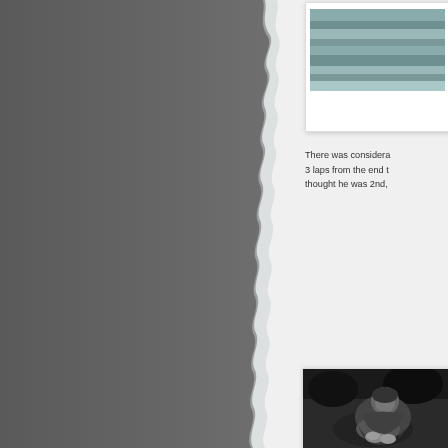[Figure (photo): Left panel: large grey textured torn-edge paper or fabric panel filling the left two-thirds of the page]
[Figure (photo): Top right: small framed photo showing a blurred horizontal surface, possibly a road or water with grey tones]
There was considera... 3 laps from the end t... thought he was 2nd,
[Figure (photo): Bottom right: black and white photograph of a person hugging their knees, head bowed, sitting on grass]